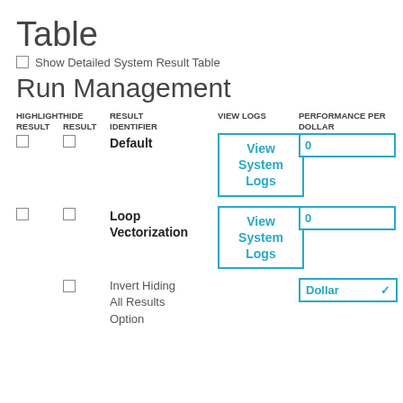Table
Show Detailed System Result Table
Run Management
| HIGHLIGHT RESULT | HIDE RESULT | RESULT IDENTIFIER | VIEW LOGS | PERFORMANCE PER DOLLAR |
| --- | --- | --- | --- | --- |
| ☐ | ☐ | Default | View System Logs | 0 |
| ☐ | ☐ | Loop Vectorization | View System Logs | 0 |
|  | ☐ | Invert Hiding All Results Option |  | Dollar |